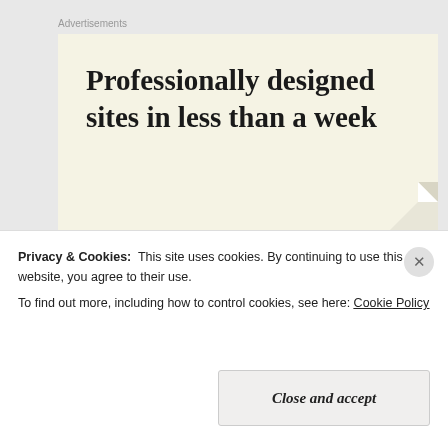Advertisements
[Figure (illustration): Advertisement banner with cream/beige background showing text 'Professionally designed sites in less than a week' with a paper fold effect in the corner]
We
[Figure (photo): Workshop interior photo showing a person in red shirt working on the floor surrounded by wood pieces, tools and equipment in a garage/workshop setting]
Privacy & Cookies:  This site uses cookies. By continuing to use this website, you agree to their use.
To find out more, including how to control cookies, see here: Cookie Policy
Close and accept